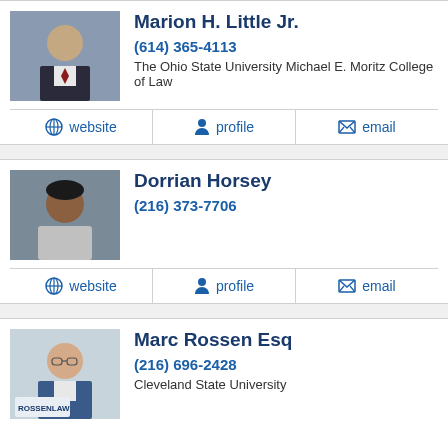Marion H. Little Jr.
(614) 365-4113
The Ohio State University Michael E. Moritz College of Law
website | profile | email
Dorrian Horsey
(216) 373-7706
website | profile | email
Marc Rossen Esq
(216) 696-2428
Cleveland State University